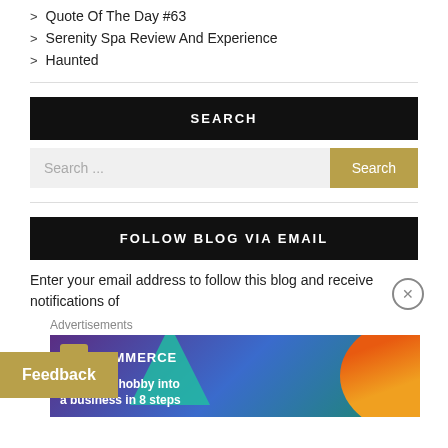Quote Of The Day #63
Serenity Spa Review And Experience
Haunted
SEARCH
Search ...
FOLLOW BLOG VIA EMAIL
Enter your email address to follow this blog and receive notifications of
Advertisements
[Figure (infographic): WooCommerce advertisement: Turn your hobby into a business in 8 steps]
Feedback